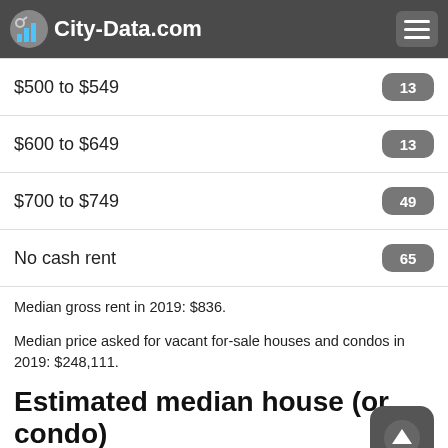City-Data.com
$500 to $549 — 13
$600 to $649 — 13
$700 to $749 — 49
No cash rent — 65
Median gross rent in 2019: $836.
Median price asked for vacant for-sale houses and condos in 2019: $248,111.
Estimated median house (or condo) value in 2019 for:
White Non-Hispanic householders: $129,980.